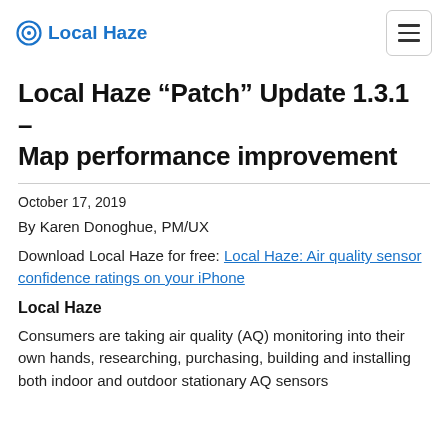⊙ Local Haze
Local Haze “Patch” Update 1.3.1 – Map performance improvement
October 17, 2019
By Karen Donoghue, PM/UX
Download Local Haze for free: Local Haze: Air quality sensor confidence ratings on your iPhone
Local Haze
Consumers are taking air quality (AQ) monitoring into their own hands, researching, purchasing, building and installing both indoor and outdoor stationary AQ sensors